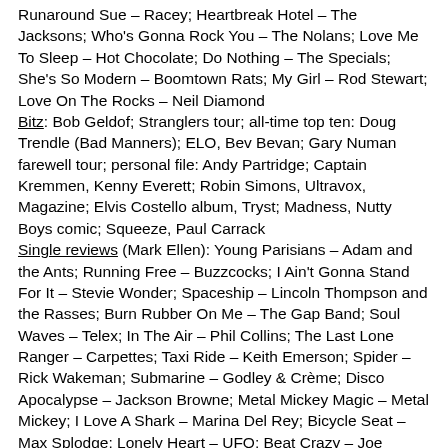Runaround Sue – Racey; Heartbreak Hotel – The Jacksons; Who's Gonna Rock You – The Nolans; Love Me To Sleep – Hot Chocolate; Do Nothing – The Specials; She's So Modern – Boomtown Rats; My Girl – Rod Stewart; Love On The Rocks – Neil Diamond
Bitz: Bob Geldof; Stranglers tour; all-time top ten: Doug Trendle (Bad Manners); ELO, Bev Bevan; Gary Numan farewell tour; personal file: Andy Partridge; Captain Kremmen, Kenny Everett; Robin Simons, Ultravox, Magazine; Elvis Costello album, Tryst; Madness, Nutty Boys comic; Squeeze, Paul Carrack
Single reviews (Mark Ellen): Young Parisians – Adam and the Ants; Running Free – Buzzcocks; I Ain't Gonna Stand For It – Stevie Wonder; Spaceship – Lincoln Thompson and the Rasses; Burn Rubber On Me – The Gap Band; Soul Waves – Telex; In The Air – Phil Collins; The Last Lone Ranger – Carpettes; Taxi Ride – Keith Emerson; Spider – Rick Wakeman; Submarine – Godley & Crème; Disco Apocalypse – Jackson Browne; Metal Mickey Magic – Metal Mickey; I Love A Shark – Marina Del Rey; Bicycle Seat – Max Splodge; Lonely Heart – UFO; Beat Crazy – Joe Jackson; Heart On My Sleeve – David Essex; Cold Love –